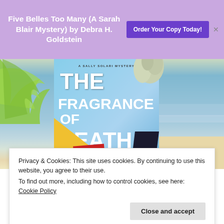Five Belles Too Many (A Sarah Blair Mystery) by Debra H. Goldstein
Order Your Copy Today!
[Figure (photo): Book cover of 'The Fragrance of Death' - A Sally Solari Mystery, showing bold white text on a sky-blue background with palm leaves, flower decoration, and geometric shapes including yellow triangle, red rectangle, and dark shape at bottom. Set against a beach background.]
Privacy & Cookies: This site uses cookies. By continuing to use this website, you agree to their use.
To find out more, including how to control cookies, see here:
Cookie Policy
Close and accept